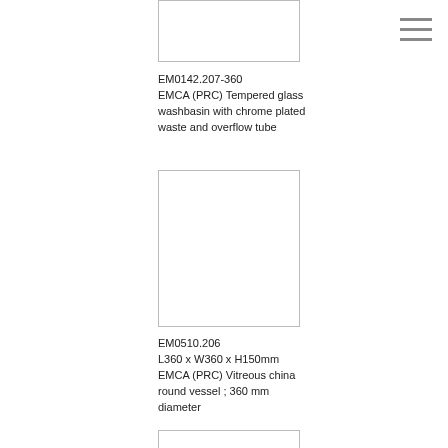[Figure (photo): Product image placeholder for EM0142.207-360 washbasin]
EM0142.207-360
EMCA (PRC) Tempered glass washbasin with chrome plated waste and overflow tube
[Figure (photo): Product image placeholder for EM0510.206 vitreous china round vessel]
EM0510.206
L360 x W360 x H150mm
EMCA (PRC) Vitreous china round vessel ; 360 mm diameter
[Figure (photo): Product image placeholder for third product (partially visible)]